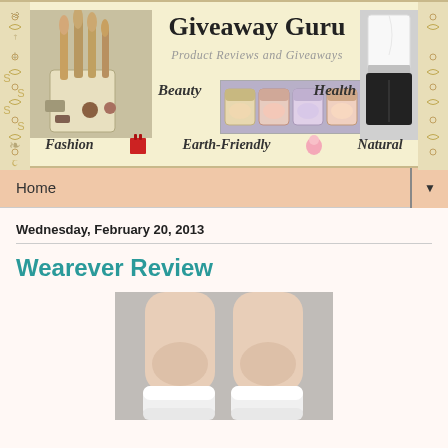[Figure (illustration): Giveaway Guru blog header banner with makeup brushes image on left, white top and black shorts outfit on right, decorative swirl pattern on sides, blog title 'Giveaway Guru', subtitle 'Product Reviews and Giveaways', navigation items: Beauty, Health, Fashion, Earth-Friendly, Natural]
Home ▼
Wednesday, February 20, 2013
Wearever Review
[Figure (photo): Photo of legs wearing white socks, showing knees and lower leg area against light gray background]